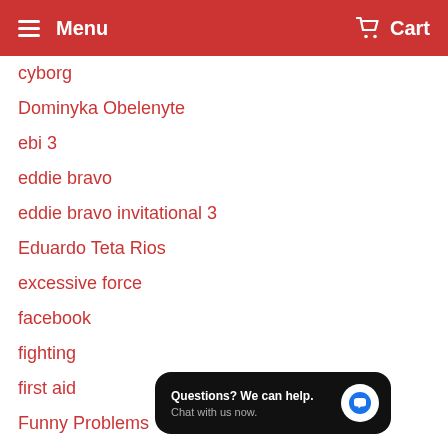Menu   Cart
cyborg
Dominyka Obelenyte
ebi 3
eddie bravo
eddie bravo invitational 3
Eduardo Teta Rios
excessive force
facebook
fighting
first aid
Funny Problems
Garry Tonon
gelatin choke
girljitsu
[Figure (screenshot): Chat widget overlay with text 'Questions? We can help. Chat with us now.' and a blue speech bubble icon on dark background]